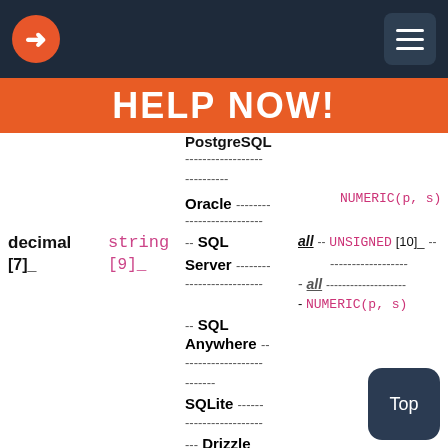HELP NOW!
PostgreSQL ------------------  ----------
Oracle -------- NUMERIC(p, s)
decimal   string   -- SQL   all -- UNSIGNED [10]_ --
[7]_   [9]_   Server --------  - all --------------------  - NUMERIC(p, s)
-- SQL Anywhere -- ----------------  -------
SQLite ------ ----------------
--- Drizzle